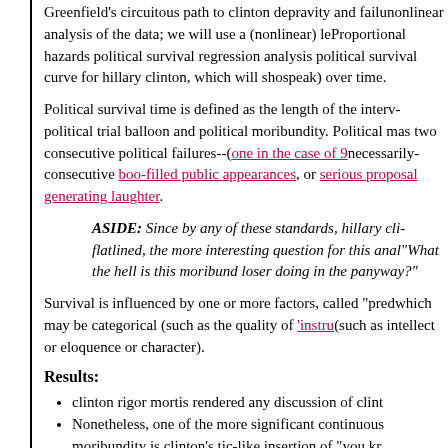Greenfield's circuitous path to clinton depravity and failure nonlinear analysis of the data; we will use a (nonlinear) le Proportional hazards political survival regression analysis political survival curve for hillary clinton, which will show speak) over time.
Political survival time is defined as the length of the interval between political trial balloon and political moribundity. Political m as two consecutive political failures--(one in the case of 9 necessarily-consecutive boo-filled public appearances, or serious proposal generating laughter.
ASIDE: Since by any of these standards, hillary cli flatlined, the more interesting question for this anal "What the hell is this moribund loser doing in the p anyway?"
Survival is influenced by one or more factors, called "pred which may be categorical (such as the quality of 'infrastru (such as intellect or eloquence or character).
Results:
clinton rigor mortis rendered any discussion of clint
Nonetheless, one of the more significant continuous moribundity is clinton's tic-like insertion of "you kr